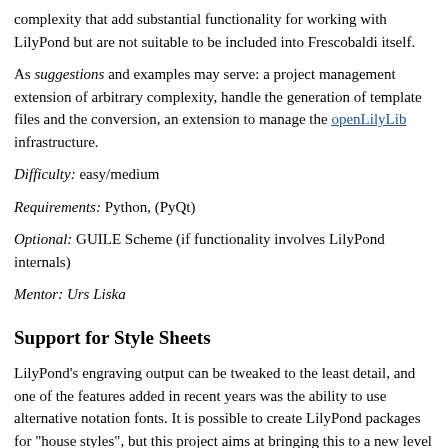complexity that add substantial functionality for working with LilyPond but are not suitable to be included into Frescobaldi itself.
As suggestions and examples may serve: a project management extension of arbitrary complexity, handle the generation of template files and the conversion, an extension to manage the openLilyLib infrastructure.
Difficulty: easy/medium
Requirements: Python, (PyQt)
Optional: GUILE Scheme (if functionality involves LilyPond internals)
Mentor: Urs Liska
Support for Style Sheets
LilyPond's engraving output can be tweaked to the least detail, and one of the features added in recent years was the ability to use alternative notation fonts. It is possible to create LilyPond packages for "house styles", but this project aims at bringing this to a new level by creating a comprehensive package with support for creating, applying, and sharing modular style sheets, with a hierarchical structure that allows to mix and match style elements for "house style", "client-a", "client-b", etc.), score type, paper size etc.